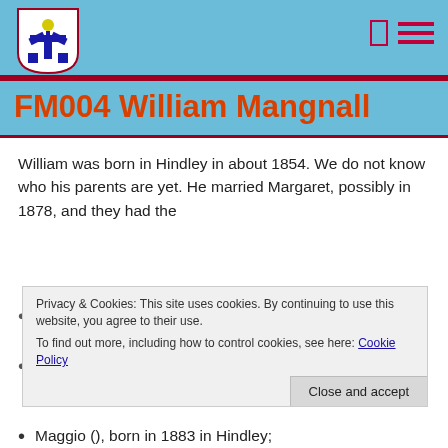[Figure (logo): Shield/coat of arms logo with blue heraldic figure on white background, in light blue header bar]
FM004 William Mangnall
William was born in Hindley in about 1854. We do not know who his parents are yet. He married Margaret, possibly in 1878, and they had the following children:
Privacy & Cookies: This site uses cookies. By continuing to use this website, you agree to their use. To find out more, including how to control cookies, see here: Cookie Policy
Annie (EM008), born about 1878 in Hindley;
Polly (EM006), born in 1879 in Hindley and christened on 9th November 1879;
Maggio (), born in 1883 in Hindley;